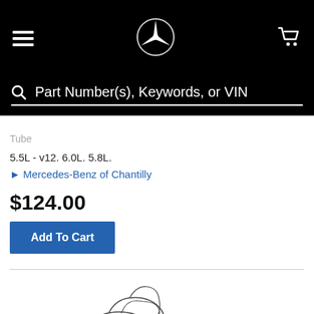[Figure (logo): Mercedes-Benz star logo in white on black navigation bar]
Part Number(s), Keywords, or VIN
Tube
5.5L - v12. 6.0L. 5.8L.
Mercedes-Benz of Chantilly
$124.00
Add To Cart
[Figure (illustration): Line drawing illustration of an oil filter housing part]
Oil Filter Housing
275-180-03-34
5.5L - v12. 6.0L. 2005-06. Coupe. convertible. 6.0l.